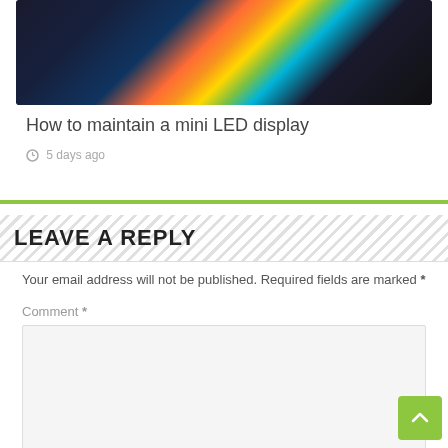[Figure (photo): Dark keyboard or circuit board with colorful LED display/screen showing orange, yellow, and green colors on a dark background]
How to maintain a mini LED display
5 days ago
LEAVE A REPLY
Your email address will not be published. Required fields are marked *
Comment *